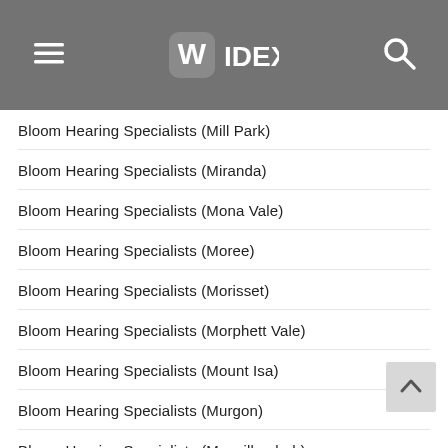WIDEX
Bloom Hearing Specialists (Mill Park)
Bloom Hearing Specialists (Miranda)
Bloom Hearing Specialists (Mona Vale)
Bloom Hearing Specialists (Moree)
Bloom Hearing Specialists (Morisset)
Bloom Hearing Specialists (Morphett Vale)
Bloom Hearing Specialists (Mount Isa)
Bloom Hearing Specialists (Murgon)
Bloom Hearing Specialists (Murwillumbah)
Bloom Hearing Specialists (Muswellbrook)
Bloom Hearing Specialists (Myrtleford)